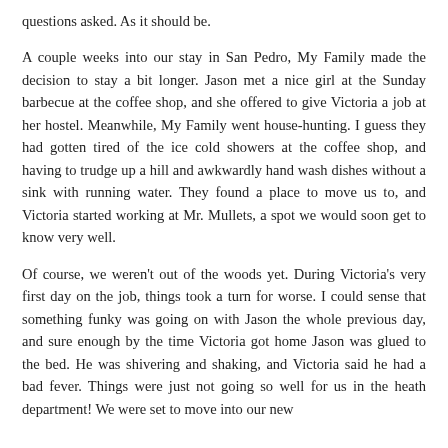questions asked. As it should be.
A couple weeks into our stay in San Pedro, My Family made the decision to stay a bit longer. Jason met a nice girl at the Sunday barbecue at the coffee shop, and she offered to give Victoria a job at her hostel. Meanwhile, My Family went house-hunting. I guess they had gotten tired of the ice cold showers at the coffee shop, and having to trudge up a hill and awkwardly hand wash dishes without a sink with running water. They found a place to move us to, and Victoria started working at Mr. Mullets, a spot we would soon get to know very well.
Of course, we weren't out of the woods yet. During Victoria's very first day on the job, things took a turn for worse. I could sense that something funky was going on with Jason the whole previous day, and sure enough by the time Victoria got home Jason was glued to the bed. He was shivering and shaking, and Victoria said he had a bad fever. Things were just not going so well for us in the heath department! We were set to move into our new